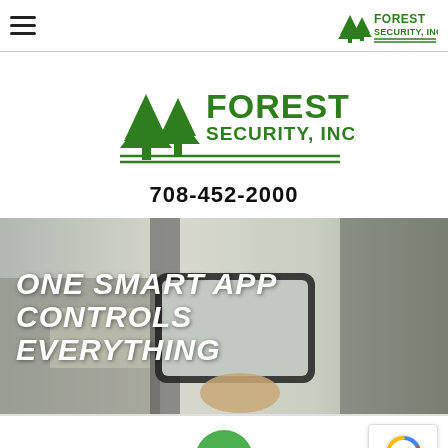Forest Security, Inc. — navigation header with hamburger menu and logo
[Figure (logo): Forest Security, Inc. logo with two green trees and green bold text 'FOREST SECURITY, INC.' with double underlines, centered]
708-452-2000
[Figure (photo): Hero image of a hand holding a smartphone showing a smart home interior. Overlaid bold white italic text: 'ONE SMART APP CONTROLS EVERYTHING']
[Figure (other): Bottom bar with green circular phone/call button centered and reCAPTCHA badge on the right showing 'Privacy - Terms']